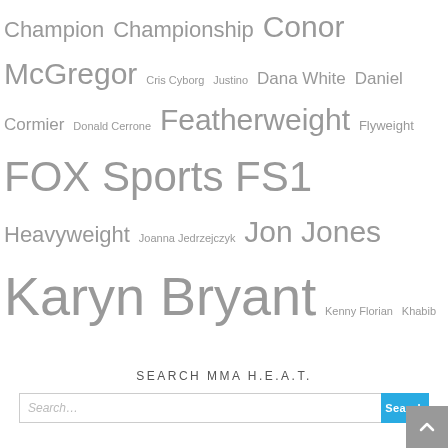Champion Championship Conor McGregor Cris Cyborg Justino Dana White Daniel Cormier Donald Cerrone Featherweight Flyweight FOX Sports FS1 Heavyweight Joanna Jedrzejczyk Jon Jones Karyn Bryant Kenny Florian Khabib Nurmagomedov Las Vegas Light Heavyweight Lightweight LIVE Los Angeles Max Holloway Michael Bisping Middleweight New York Post Fight Pre-Fight Rematch Smack Talk Strawweight The Ultimate Fighter Title Defense Title Fight Tony Ferguson Tyron Woodley UFC Wade Eck Welterweight Women's MMA
SEARCH MMA H.E.A.T.
Search...